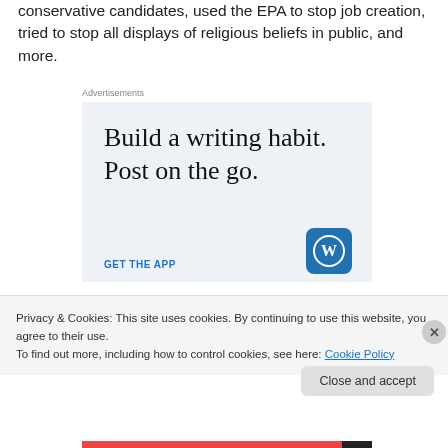conservative candidates, used the EPA to stop job creation, tried to stop all displays of religious beliefs in public, and more.
Advertisements
[Figure (infographic): WordPress advertisement: 'Build a writing habit. Post on the go.' with GET THE APP call to action and WordPress logo]
Privacy & Cookies: This site uses cookies. By continuing to use this website, you agree to their use.
To find out more, including how to control cookies, see here: Cookie Policy
Close and accept